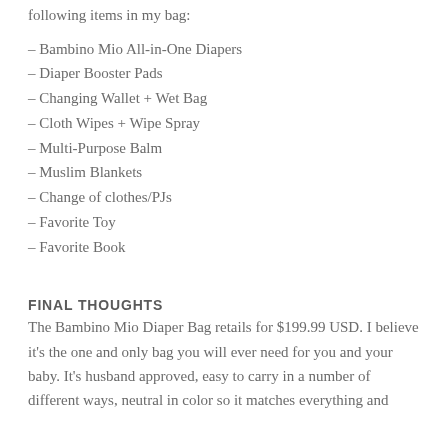following items in my bag:
– Bambino Mio All-in-One Diapers
– Diaper Booster Pads
– Changing Wallet + Wet Bag
– Cloth Wipes + Wipe Spray
– Multi-Purpose Balm
– Muslim Blankets
– Change of clothes/PJs
– Favorite Toy
– Favorite Book
FINAL THOUGHTS
The Bambino Mio Diaper Bag retails for $199.99 USD. I believe it's the one and only bag you will ever need for you and your baby. It's husband approved, easy to carry in a number of different ways, neutral in color so it matches everything and